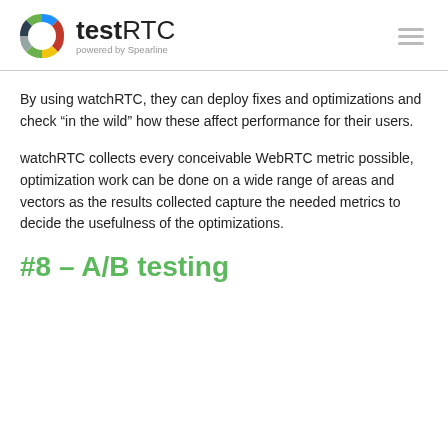testRTC powered by Spearline
By using watchRTC, they can deploy fixes and optimizations and check “in the wild” how these affect performance for their users.
watchRTC collects every conceivable WebRTC metric possible, optimization work can be done on a wide range of areas and vectors as the results collected capture the needed metrics to decide the usefulness of the optimizations.
#8 – A/B testing